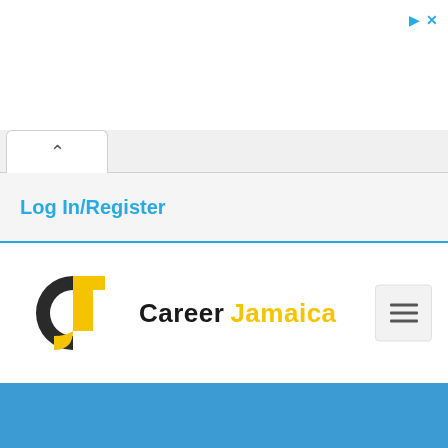[Figure (screenshot): Ad bar area at top with play and close icons in top-right corner (cyan colored)]
[Figure (screenshot): Browser tab bar with active white tab showing chevron/caret up icon]
Log In/Register
[Figure (logo): Career Jamaica logo: circular icon with black C shape and yellow J shape, followed by text 'Career Jamaica' where 'Career' is black bold and 'Jamaica' is yellow bold]
[Figure (screenshot): Hamburger menu button (three horizontal lines) in rounded rectangle, positioned top-right of navigation area]
[Figure (screenshot): Blue banner/section at bottom of page]